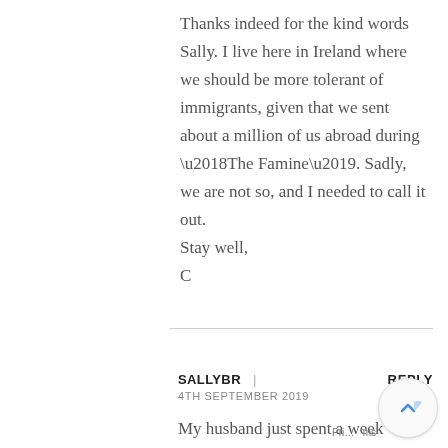Thanks indeed for the kind words Sally. I live here in Ireland where we should be more tolerant of immigrants, given that we sent about a million of us abroad during ‘The Famine’. Sadly, we are not so, and I needed to call it out.
Stay well,
C
SALLYBR | REPLY
4TH SEPTEMBER 2019
My husband just spent a week traveling around Ireland playing golf with a buddy – he absolutely LOVED the country, the people, and want us to